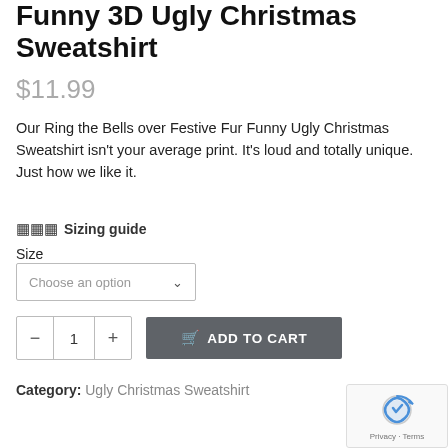Funny 3D Ugly Christmas Sweatshirt
$11.99
Our Ring the Bells over Festive Fur Funny Ugly Christmas Sweatshirt isn't your average print. It's loud and totally unique. Just how we like it.
⊞ Sizing guide
Size
Choose an option
1
ADD TO CART
Category: Ugly Christmas Sweatshirt